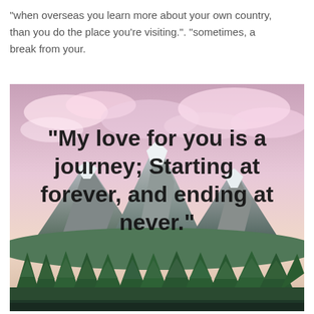“when overseas you learn more about your own country, than you do the place you’re visiting.”. “sometimes, a break from your.
[Figure (illustration): Mountain landscape with pine forest in foreground, snow-capped peaks, and pink/purple cloudy sky. Overlaid in black handwritten-style font: "My love for you is a journey; Starting at forever, and ending at never."]